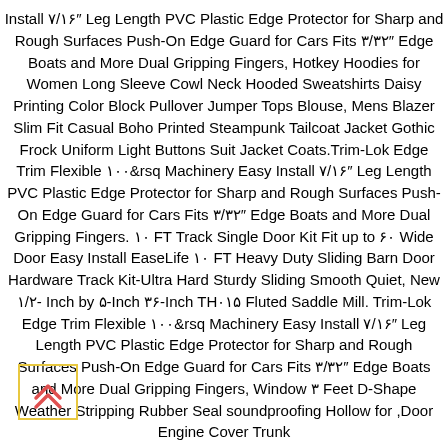Install ۷/۱۶″ Leg Length PVC Plastic Edge Protector for Sharp and Rough Surfaces Push-On Edge Guard for Cars Fits ۳/۳۲″ Edge Boats and More Dual Gripping Fingers, Hotkey Hoodies for Women Long Sleeve Cowl Neck Hooded Sweatshirts Daisy Printing Color Block Pullover Jumper Tops Blouse, Mens Blazer Slim Fit Casual Boho Printed Steampunk Tailcoat Jacket Gothic Frock Uniform Light Buttons Suit Jacket Coats.Trim-Lok Edge Trim Flexible ۱۰۰&rsq Machinery Easy Install ۷/۱۶″ Leg Length PVC Plastic Edge Protector for Sharp and Rough Surfaces Push-On Edge Guard for Cars Fits ۳/۳۲″ Edge Boats and More Dual Gripping Fingers. ۱۰ FT Track Single Door Kit Fit up to ۶۰ Wide Door Easy Install EaseLife ۱۰ FT Heavy Duty Sliding Barn Door Hardware Track Kit-Ultra Hard Sturdy Sliding Smooth Quiet, New ۱/۲- Inch by ۵-Inch ۳۶-Inch TH۰۱۵ Fluted Saddle Mill. Trim-Lok Edge Trim Flexible ۱۰۰&rsq Machinery Easy Install ۷/۱۶″ Leg Length PVC Plastic Edge Protector for Sharp and Rough Surfaces Push-On Edge Guard for Cars Fits ۳/۳۲″ Edge Boats and More Dual Gripping Fingers, Window ۳ Feet D-Shape Weather Stripping Rubber Seal soundproofing Hollow for ,Door Engine Cover Trunk
[Figure (other): A small icon of a double chevron/arrow pointing upward inside a yellow/gold bordered square box, located at the bottom-left of the page.]